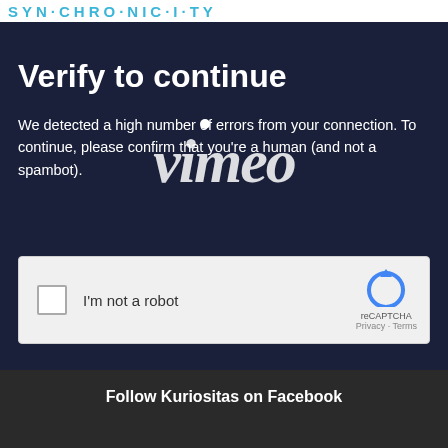SYN·CHRO·NIC·I·TY
Verify to continue
[Figure (logo): Vimeo watermark logo overlaid on the dark background text area]
We detected a high number of errors from your connection. To continue, please confirm that you're a human (and not a spambot).
[Figure (other): reCAPTCHA widget with checkbox labeled 'I'm not a robot' and reCAPTCHA logo with Privacy and Terms links]
Follow Kuriositas on Facebook